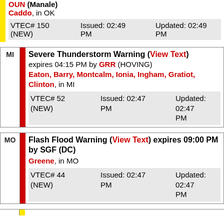OUN (Manale) Caddo, in OK VTEC# 150 (NEW) Issued: 02:49 PM Updated: 02:49 PM
MI Severe Thunderstorm Warning (View Text) expires 04:15 PM by GRR (HOVING) Eaton, Barry, Montcalm, Ionia, Ingham, Gratiot, Clinton, in MI VTEC# 52 (NEW) Issued: 02:47 PM Updated: 02:47 PM
MO Flash Flood Warning (View Text) expires 09:00 PM by SGF (DC) Greene, in MO VTEC# 44 (NEW) Issued: 02:47 PM Updated: 02:47 PM